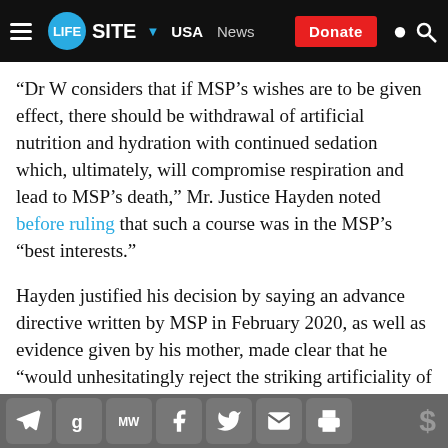LifeSite — USA | News | Donate
“Dr W considers that if MSP’s wishes are to be given effect, there should be withdrawal of artificial nutrition and hydration with continued sedation which, ultimately, will compromise respiration and lead to MSP’s death,” Mr. Justice Hayden noted before ruling that such a course was in the MSP’s “best interests.”
Hayden justified his decision by saying an advance directive written by MSP in February 2020, as well as evidence given by his mother, made clear that he “would unhesitatingly reject the striking artificiality of parenteral feeding” and that in such an “exercise of his personal autonomy he is entitled to take that
Social share bar: Telegram, Google, MeWe, Facebook, Twitter, Email, Print, Donate